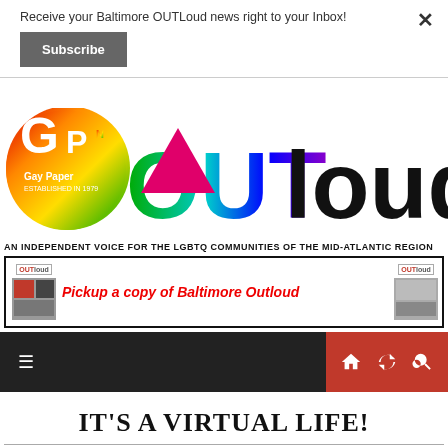Receive your Baltimore OUTLoud news right to your Inbox!
Subscribe
[Figure (logo): GP OUTloud Gay Paper established 1979 logo with rainbow colored letters and a pink triangle inside the O]
AN INDEPENDENT VOICE FOR THE LGBTQ COMMUNITIES OF THE MID-ATLANTIC REGION
[Figure (screenshot): Banner ad: OUTloud logo on left and right, text 'Pickup a copy of Baltimore Outloud' in red italic bold, with thumbnail images]
[Figure (screenshot): Navigation bar with hamburger menu icon on dark background and red section with home, shuffle, and search icons]
IT'S A VIRTUAL LIFE!